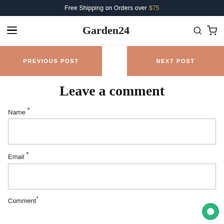Free Shipping on Orders over $75
Garden24
PREVIOUS POST
NEXT POST
Leave a comment
Name *
Email *
Comment *